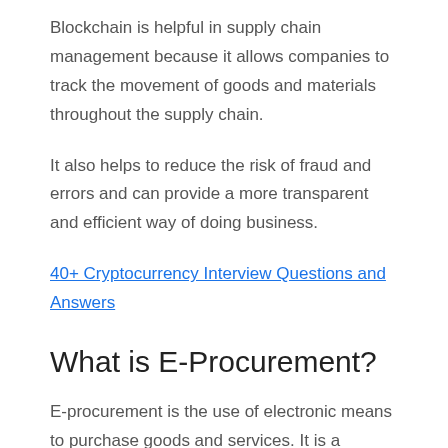Blockchain is helpful in supply chain management because it allows companies to track the movement of goods and materials throughout the supply chain.
It also helps to reduce the risk of fraud and errors and can provide a more transparent and efficient way of doing business.
40+ Cryptocurrency Interview Questions and Answers
What is E-Procurement?
E-procurement is the use of electronic means to purchase goods and services. It is a paperless way of doing business that can help to save time and money.
Name some tools which are used in Supply Chain Management?
Some tools which are used in supply chain management include: